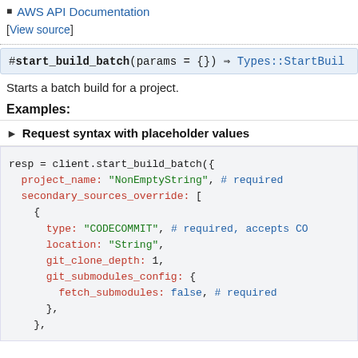AWS API Documentation
[View source]
#start_build_batch(params = {}) ⇒ Types::StartBuild...
Starts a batch build for a project.
Examples:
► Request syntax with placeholder values
resp = client.start_build_batch({
  project_name: "NonEmptyString", # required
  secondary_sources_override: [
    {
      type: "CODECOMMIT", # required, accepts CO
      location: "String",
      git_clone_depth: 1,
      git_submodules_config: {
        fetch_submodules: false, # required
      },
    },